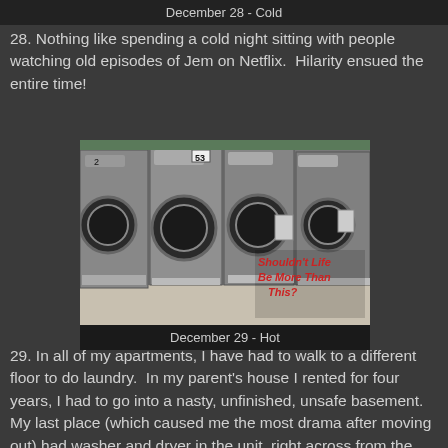December 28 - Cold
28. Nothing like spending a cold night sitting with people watching old episodes of Jem on Netflix.  Hilarity ensued the entire time!
[Figure (photo): Row of stainless steel commercial washing machines in a laundromat, with red text overlay reading 'Shouldn't Life Be More Than This?']
December 29 - Hot
29. In all of my apartments, I have had to walk to a different floor to do laundry.  In my parent's house I rented for four years, I had to go into a nasty, unfinished, unsafe basement.  My last place (which caused me the most drama after moving out) had washer and dryer in the unit, right across from the awesome kitchen.  So much bliss.  So easy to do laundry.  So wonderful.  I read a statistic that only 30% of apartments in Manhattan have a washer and dryer in the